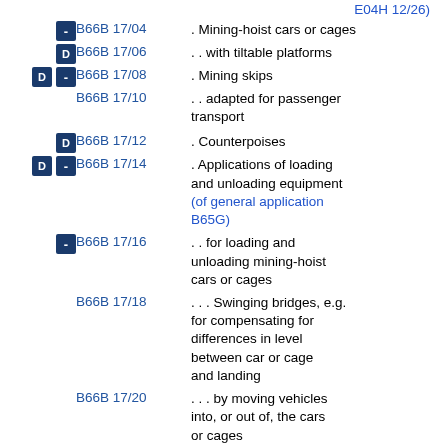E04H 12/26)
B66B 17/04 . Mining-hoist cars or cages
B66B 17/06 . . with tiltable platforms
B66B 17/08 . Mining skips
B66B 17/10 . . adapted for passenger transport
B66B 17/12 . Counterpoises
B66B 17/14 . Applications of loading and unloading equipment (of general application B65G)
B66B 17/16 . . for loading and unloading mining-hoist cars or cages
B66B 17/18 . . . Swinging bridges, e.g. for compensating for differences in level between car or cage and landing
B66B 17/20 . . . by moving vehicles into, or out of, the cars or cages